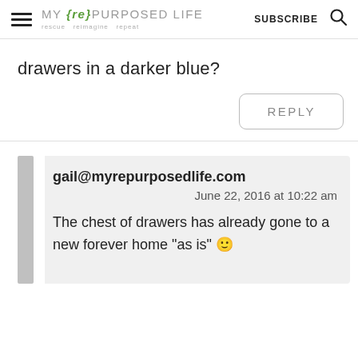MY {re} PURPOSED LIFE — rescue reimagine repeat | SUBSCRIBE
drawers in a darker blue?
REPLY
gail@myrepurposedlife.com
June 22, 2016 at 10:22 am

The chest of drawers has already gone to a new forever home "as is" 🙂